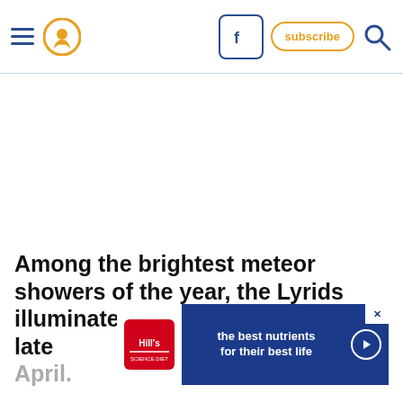Navigation header with hamburger menu, location pin icon, Facebook button, subscribe button, and search icon
Among the brightest meteor showers of the year, the Lyrids illuminate the night sky in mid-to-late April.
[Figure (other): Advertisement banner for Hill's pet nutrition: 'the best nutrients for their best life' on blue background with Hill's logo]